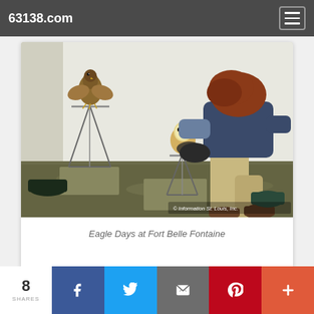63138.com
[Figure (photo): A person with red hair bending over birds of prey (including a barn owl and a hawk/raptor) perched on stands inside a tent at what appears to be an outdoor wildlife education event. The ground is covered with grass and wood shavings. A dark bowl is visible at the right. Watermark reads: © Information St. Louis, Inc.]
Eagle Days at Fort Belle Fontaine
8 SHARES
[Figure (infographic): Social share bar with buttons: Facebook (f), Twitter (bird icon), Email (envelope icon), Pinterest (P), More (+). Shows 8 SHARES count on left.]